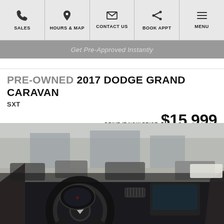SALES | HOURS & MAP | CONTACT US | BOOK APPT | MENU
[Figure (screenshot): Gray banner with text 'Get Pre-Approved Instantly']
PRE-OWNED 2017 DODGE GRAND CARAVAN SXT
DRIVE IT NOW PRICE $15,999
See Important Disclosures Here
[Figure (photo): Interior of 2017 Dodge Grand Caravan showing steering wheel, dashboard and infotainment screen, with dealership lot visible through windshield]